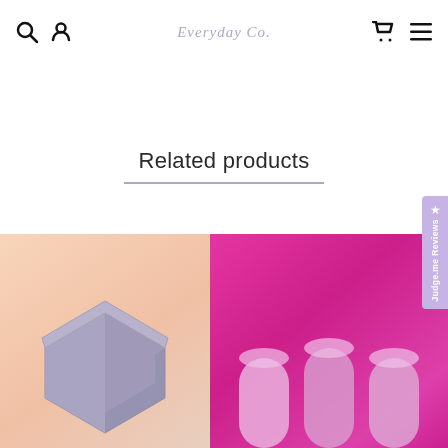Everyday Co.
Related products
[Figure (photo): Hexagonal grey silicone box on a peach/salmon gradient background]
[Figure (photo): Pink/magenta yoga blocks or foam roller accessories on a bright pink/magenta background]
★ Judge.me Reviews